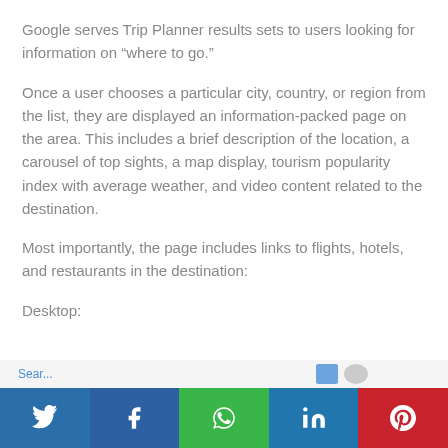Google serves Trip Planner results sets to users looking for information on “where to go.”
Once a user chooses a particular city, country, or region from the list, they are displayed an information-packed page on the area. This includes a brief description of the location, a carousel of top sights, a map display, tourism popularity index with average weather, and video content related to the destination.
Most importantly, the page includes links to flights, hotels, and restaurants in the destination:
Desktop: